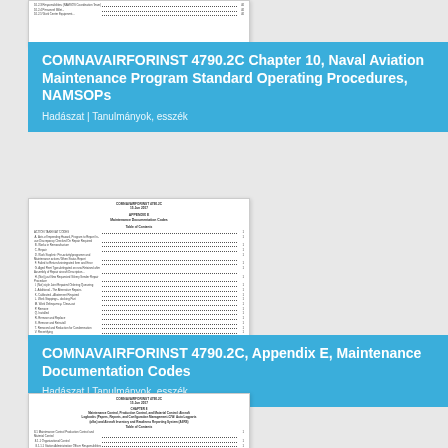[Figure (screenshot): Thumbnail of a document page showing a table of contents, partially visible at top of page]
COMNAVAIRFORINST 4790.2C Chapter 10, Naval Aviation Maintenance Program Standard Operating Procedures, NAMSOPs
Hadászat | Tanulmányok, esszék
[Figure (screenshot): Thumbnail of COMNAVAIRFORINST 4790.2C Appendix E Maintenance Documentation Codes document showing table of contents]
COMNAVAIRFORINST 4790.2C, Appendix E, Maintenance Documentation Codes
Hadászat | Tanulmányok, esszék
[Figure (screenshot): Thumbnail of another COMNAVAIRFORINST 4790.2C chapter document showing table of contents, partially visible at bottom]